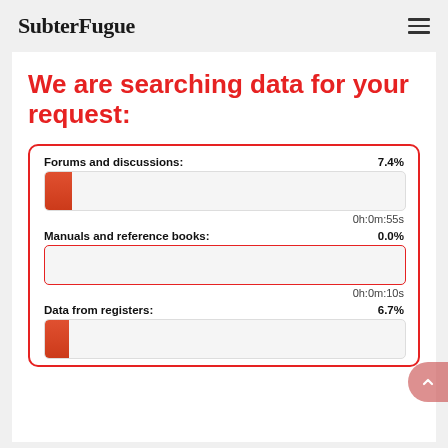SubterFugue
We are searching data for your request:
Forums and discussions: 7.4%
0h:0m:55s
Manuals and reference books: 0.0%
0h:0m:10s
Data from registers: 6.7%